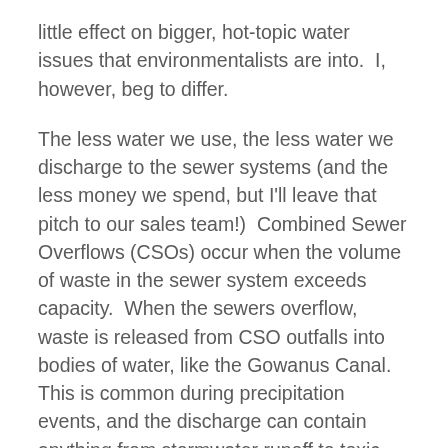little effect on bigger, hot-topic water issues that environmentalists are into.  I, however, beg to differ.
The less water we use, the less water we discharge to the sewer systems (and the less money we spend, but I'll leave that pitch to our sales team!)  Combined Sewer Overflows (CSOs) occur when the volume of waste in the sewer system exceeds capacity.  When the sewers overflow, waste is released from CSO outfalls into bodies of water, like the Gowanus Canal.  This is common during precipitation events, and the discharge can contain anything from stormwater runoff to toxic waste.
So, saving water seems great.  It will save bill-payers money, and help ameliorate issues like CSOs.  This is where the Gowanus Canal comes in.  Last summer had the pleasure of chatting with folks from the Gowanus Canal Conservancy about the Gowanus sewershed and implications of impending rezoning in the neighborhood.